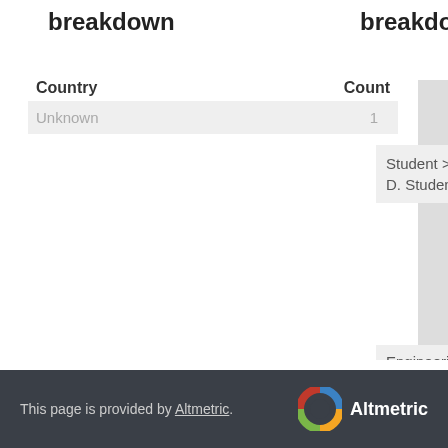breakdown
breakdown
| Country | Count |
| --- | --- |
| Unknown | 1 |
| Readers by professional status | Count | As |
| --- | --- | --- |
| Student > Ph. D. Student | 1 | 100 |
| Readers by discipline | Count | As % |
| --- | --- | --- |
| Engineering | 1 | 100% |
This page is provided by Altmetric.